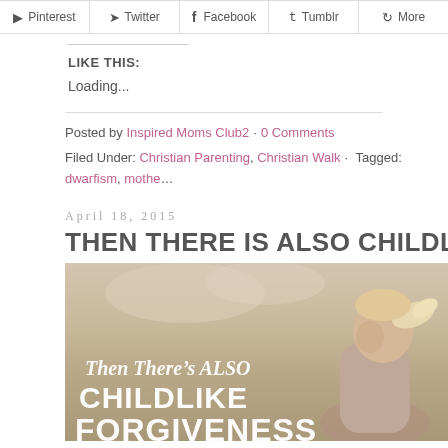[Figure (infographic): Social sharing buttons row: Pinterest, Twitter, Facebook, Tumblr, More]
LIKE THIS:
Loading...
Posted by Inspired Moms Club2 · 0 Comments
Filed Under: Christian Parenting, Christian Walk · Tagged: dwarfism, mothe…
April 18, 2015
THEN THERE IS ALSO CHILDLIKE FOR
[Figure (photo): Blog post image showing a blonde girl with ponytail, sepia/warm toned. Text overlay reads 'Then There's ALSO CHILDLIKE FORGIVENESS']